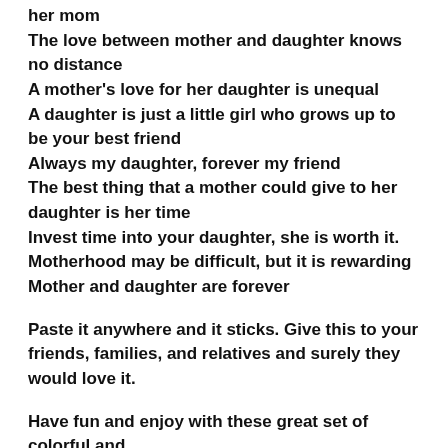her mom
The love between mother and daughter knows no distance
A mother's love for her daughter is unequal
A daughter is just a little girl who grows up to be your best friend
Always my daughter, forever my friend
The best thing that a mother could give to her daughter is her time
Invest time into your daughter, she is worth it.
Motherhood may be difficult, but it is rewarding
Mother and daughter are forever
Paste it anywhere and it sticks. Give this to your friends, families, and relatives and surely they would love it.
Have fun and enjoy with these great set of colorful and